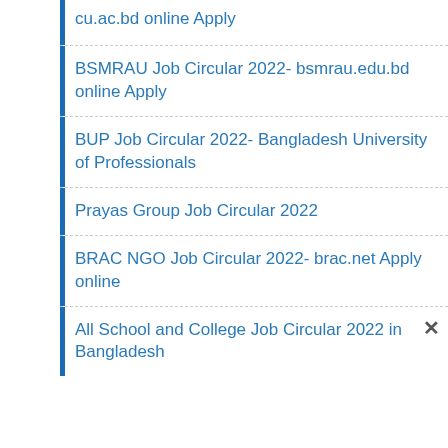cu.ac.bd online Apply
BSMRAU Job Circular 2022- bsmrau.edu.bd online Apply
BUP Job Circular 2022- Bangladesh University of Professionals
Prayas Group Job Circular 2022
BRAC NGO Job Circular 2022- brac.net Apply online
All School and College Job Circular 2022 in Bangladesh